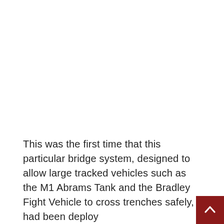This was the first time that this particular bridge system, designed to allow large tracked vehicles such as the M1 Abrams Tank and the Bradley Fight Vehicle to cross trenches safely, had been deploy